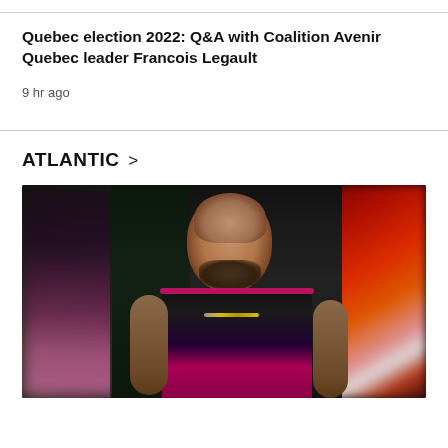Quebec election 2022: Q&A with Coalition Avenir Quebec leader Francois Legault
9 hr ago
ATLANTIC >
[Figure (photo): A bald man with a goatee and tattoos wearing a black and pink basketball jersey, photographed indoors with red lighting in the background.]